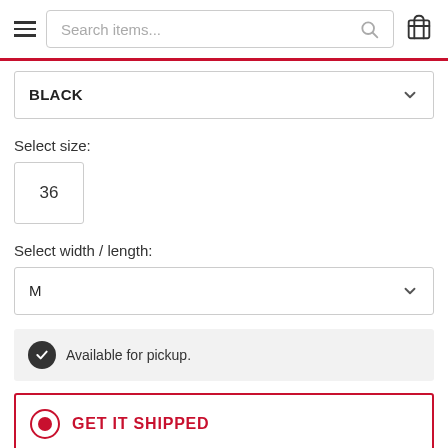Search items...
BLACK
Select size:
36
Select width / length:
M
Available for pickup.
GET IT SHIPPED
PICK UP IN STORE: